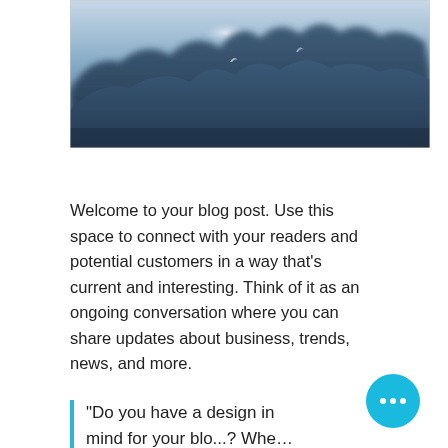[Figure (photo): A wide landscape photo of misty blue mountains with soft light reflecting off peaks, dark blue tones throughout.]
Welcome to your blog post. Use this space to connect with your readers and potential customers in a way that’s current and interesting. Think of it as an ongoing conversation where you can share updates about business, trends, news, and more.
“Do you have a design in mind for your blog? Whe…